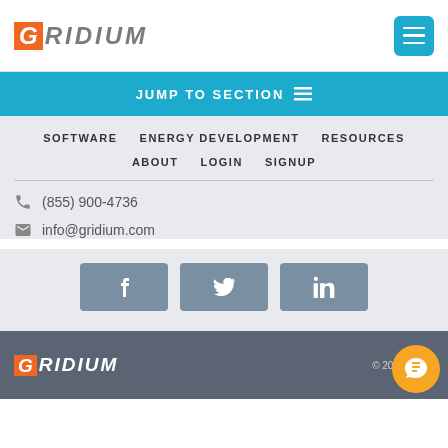Gridium
JUMP TO SECTION
SOFTWARE
ENERGY DEVELOPMENT
RESOURCES
ABOUT
LOGIN
SIGNUP
(855) 900-4736
info@gridium.com
[Figure (other): Social media buttons: Facebook, Twitter, LinkedIn]
© 2022 Gridium